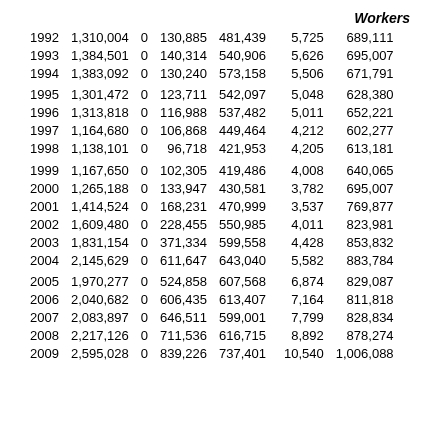Workers
| Year | Col2 | Col3 | Col4 | Col5 | Col6 | Workers |
| --- | --- | --- | --- | --- | --- | --- |
| 1992 | 1,310,004 | 0 | 130,885 | 481,439 | 5,725 | 689,111 |
| 1993 | 1,384,501 | 0 | 140,314 | 540,906 | 5,626 | 695,007 |
| 1994 | 1,383,092 | 0 | 130,240 | 573,158 | 5,506 | 671,791 |
| 1995 | 1,301,472 | 0 | 123,711 | 542,097 | 5,048 | 628,380 |
| 1996 | 1,313,818 | 0 | 116,988 | 537,482 | 5,011 | 652,221 |
| 1997 | 1,164,680 | 0 | 106,868 | 449,464 | 4,212 | 602,277 |
| 1998 | 1,138,101 | 0 | 96,718 | 421,953 | 4,205 | 613,181 |
| 1999 | 1,167,650 | 0 | 102,305 | 419,486 | 4,008 | 640,065 |
| 2000 | 1,265,188 | 0 | 133,947 | 430,581 | 3,782 | 695,007 |
| 2001 | 1,414,524 | 0 | 168,231 | 470,999 | 3,537 | 769,877 |
| 2002 | 1,609,480 | 0 | 228,455 | 550,985 | 4,011 | 823,981 |
| 2003 | 1,831,154 | 0 | 371,334 | 599,558 | 4,428 | 853,832 |
| 2004 | 2,145,629 | 0 | 611,647 | 643,040 | 5,582 | 883,784 |
| 2005 | 1,970,277 | 0 | 524,858 | 607,568 | 6,874 | 829,087 |
| 2006 | 2,040,682 | 0 | 606,435 | 613,407 | 7,164 | 811,818 |
| 2007 | 2,083,897 | 0 | 646,511 | 599,001 | 7,799 | 828,834 |
| 2008 | 2,217,126 | 0 | 711,536 | 616,715 | 8,892 | 878,274 |
| 2009 | 2,595,028 | 0 | 839,226 | 737,401 | 10,540 | 1,006,088 |